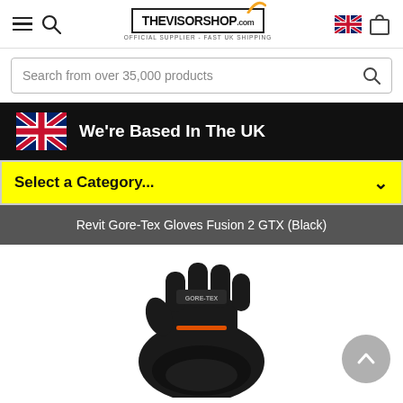[Figure (screenshot): TheVisorShop.com website header with hamburger menu, search icon, logo, UK flag and shopping bag icon]
Search from over 35,000 products
[Figure (infographic): Black banner with UK flag emoji and text: We're Based In The UK]
Select a Category...
Revit Gore-Tex Gloves Fusion 2 GTX (Black)
[Figure (photo): Photo of black Revit Gore-Tex Fusion 2 GTX motorcycle gloves]